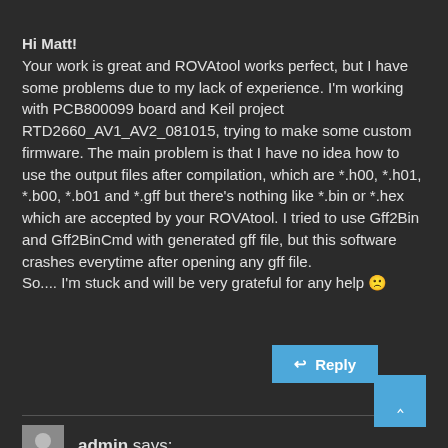Hi Matt!
Your work is great and ROVAtool works perfect, but I have some problems due to my lack of experience. I'm working with PCB800099 board and Keil project RTD2660_AV1_AV2_081015, trying to make some custom firmware. The main problem is that I have no idea how to use the output files after compilation, which are *.h00, *.h01, *.b00, *.b01 and *.gff but there's nothing like *.bin or *.hex which are accepted by your ROVAtool. I tried to use Gff2Bin and Gff2BinCmd with generated gff file, but this software crashes everytime after opening any gff file.
So.... I'm stuck and will be very grateful for any help 🙁
↩ Reply
admin says: